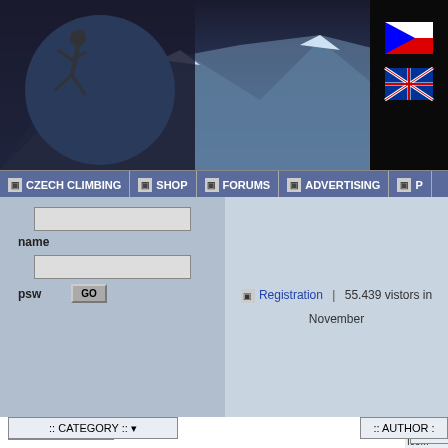[Figure (screenshot): Website header with mountain background, climber silhouette logo, and Czech/UK flag icons]
CZECH CLIMBING | SHOP | FORUMS | ADVERTISING | P...
name
psw
GO
Registration | 55.439 vistors in November
[Figure (logo): LEZEC SHOP logo with mountain/circle graphic]
Books
[Figure (photo): Book cover image with hand graphic]
Nová kniha Lékaři na horách: neviditelní hrdinové
Slovinsko
Frankenjura Band 1 a Band 2
Competitions
Ice...
Ice...
(Lu...
Bo...
bee...
pre...
abo...
pla...
clim...
Lu...
02.0...
Hig...
Ch...
a b...
in t...
bou...
(bo...